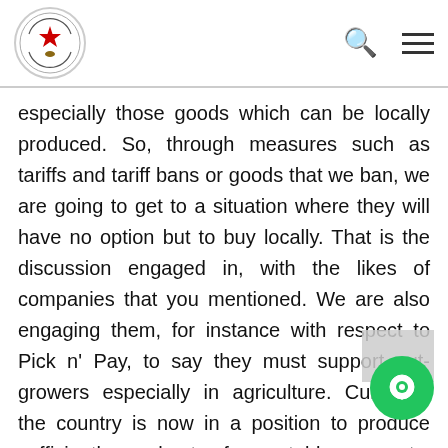Parliament of Zimbabwe header with logo, search icon, and menu icon
especially those goods which can be locally produced. So, through measures such as tariffs and tariff bans or goods that we ban, we are going to get to a situation where they will have no option but to buy locally. That is the discussion engaged in, with the likes of companies that you mentioned. We are also engaging them, for instance with respect to Pick n' Pay, to say they must support out-growers especially in agriculture. Currently, the country is now in a position to produce sufficiently, a host of vegetables, carrots, cabbages, Irish potatoes, sweet potatoes, tomatoes and onions. We now have capacity through the measures that we took with respect to the tariff structure, to sufficiently produce those goods for domestic consumption and demand.